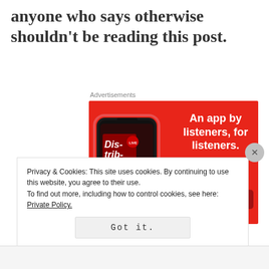anyone who says otherwise shouldn't be reading this post.
Advertisements
[Figure (photo): Advertisement banner for a podcast app showing a smartphone with the app open displaying 'Distributed' podcast. Red background with text 'An app by listeners, for listeners.' and a 'Download now' button.]
Privacy & Cookies: This site uses cookies. By continuing to use this website, you agree to their use.
To find out more, including how to control cookies, see here: Private Policy.
Got it.